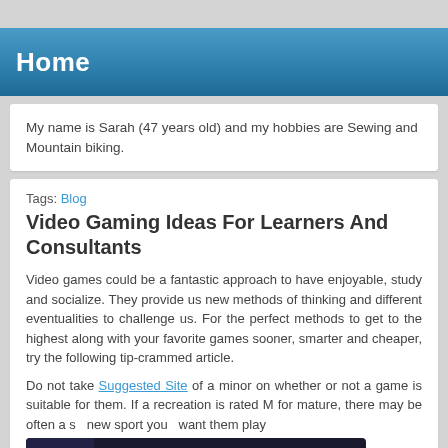Home
My name is Sarah (47 years old) and my hobbies are Sewing and Mountain biking.
Tags: Blog
Video Gaming Ideas For Learners And Consultants
Video games could be a fantastic approach to have enjoyable, study and socialize. They provide us new methods of thinking and different eventualities to challenge us. For the perfect methods to get to the highest along with your favorite games sooner, smarter and cheaper, try the following tip-crammed article.
Do not take Suggested Site of a minor on whether or not a game is suitable for them. If a recreation is rated M for mature, there may be often a s... new sport you... want them play...
[Figure (other): xtgem FORUMS advertisement banner with green 'Discuss right now' button]